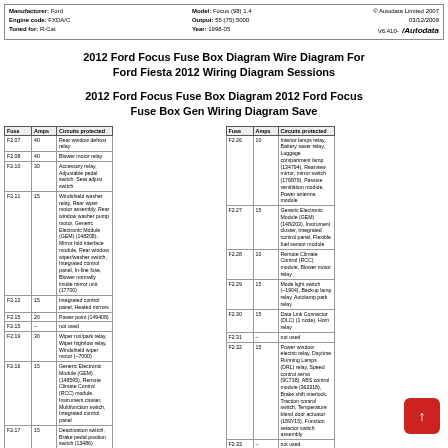Manufacturer: Ford | Engine code: FXDA/C | Tuned for: R-Cat | Model: Focus (98) 1.4 | Output: 55 (75) 5000 | Year: 1998-05 | © Autodata Limited 2007 | 03/12/2009 | V6.410- Autodata
2012 Ford Focus Fuse Box Diagram Wire Diagram For Ford Fiesta 2012 Wiring Diagram Sessions
2012 Ford Focus Fuse Box Diagram 2012 Ford Focus Fuse Box Gen Wiring Diagram Save
| Fuse | Amps | Circuits protected |
| --- | --- | --- |
| F2.07 | 40 | Rear window defrost relay |
| F2.08 | 40 | Blower motor relay |
| F2.10 | 30 | Accessory relay, Adjustable pedal switch, Seat adjust switch |
| F2.11 | 15 | Windshield washer relay, Rear wiper motor assembly, Rear window washer pump motor, Generic Electronic Module (GEM) (148208), Mirror fold interface module, Rear window wiper/washer switch, Integrated control panel, In-line fuse, Blower normally inside mirror unit (17700) |
| F2.12 | 15 | Integrated control panel, Heated mirrors |
| F2.15 | 20 | Power point (149408) |
| F2.15 | – | not used |
| F2.19 | 30 | Wiper run/park relay, Wiper high/low relay, Windshield wiper motor (~7000) |
| F2.16 | 15 | Generic Electronic Module (GEM) (148595), Remote Climate Control (RCC) module, Instrument cluster, Multifunction switch, Integrated control panel |
| F2.17 | 15 | Deactivation switch, Brake pedal position switch (13486) |
| F2.18 | – | not used |
| F2.19 | – | not used |
| F2.20 | – | not used |
| F2.21 | – | not used |
| F2.22 | 30 | Door lock relay, Door unlock relay, Driver door unlock relay, Luggage compartment lid release slot lift, Luggage compartment lid release relay, Liftgate on lock relay |
| F2.23 | 15 | Passive anti-theft transceiver module (PATS), Hazard/brake control module (~6321) |
| Fuse | Amps | Circuits protected |
| --- | --- | --- |
| F2.26 | 10 | Interior lamps relay, Battery saver relay, Luggage compartment lamp (134794), Rearview mirror, mirror switch (176879), Passive ventilation module, Power antenna module |
| F2.27 | 15 | Generic Electronic Module (GEM) (148/203), Instrument cluster, Integrated control panel, Flexible fuel sensor module |
| F2.28 | 10 | Remote Climate Control (RCC) module, Blower motor relay |
| F2.29 | 15 | Mode light switch (~1904), Backup lamp relay, Autolamp park relay |
| F2.30 | 15 | Data Link Connector (DLC) (1 node), Horn relay |
| F2.31 | – | not used |
| F2.32 | 15 | Power window electric relay, Daytime Running Lamps (DRL) relay, Speed control servo (9C738), ABS control module (362318), Brake shift interlock, Traction control switch, Temperature blend door actuator (189Y15), Function selector switch assembly |
| F2.33 | – | not used |
| F2.34 | – | not used |
| F2.35 | – | not used |
| F2.36 | 15 | Digital Transmission Range (DTR) sensor (2Y... |
| F2.37 | 15 | Digital Transmission Range (DTR) sensor (2Y... |
| F2.38 | 0 | Generic Electronic Module (GEM) (1/8/03) |
| F2.39 | – | not used |
| F2.40 | – | not used |
| F2.41 | – | not used |
| F2.42 | – | not used |